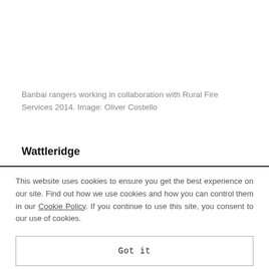Banbai rangers working in collaboration with Rural Fire Services 2014. Image: Oliver Costello
Wattleridge
This website uses cookies to ensure you get the best experience on our site. Find out how we use cookies and how you can control them in our Cookie Policy. If you continue to use this site, you consent to our use of cookies.
Got it